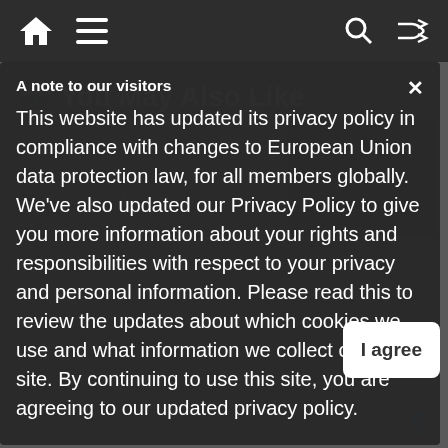Navigation bar with home icon, menu icon, search icon, shuffle icon
You May Also Like
A note to our visitors
This website has updated its privacy policy in compliance with changes to European Union data protection law, for all members globally. We've also updated our Privacy Policy to give you more information about your rights and responsibilities with respect to your privacy and personal information. Please read this to review the updates about which cookies we use and what information we collect on our site. By continuing to use this site, you are agreeing to our updated privacy policy.
I agree